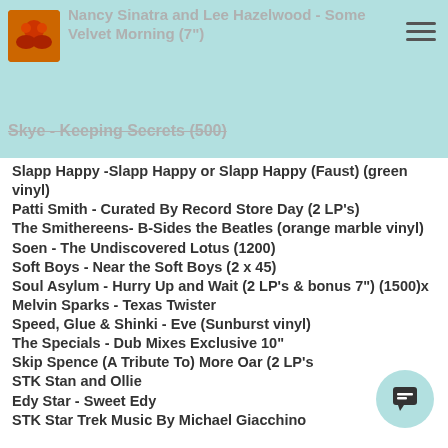Nancy Sinatra and Lee Hazelwood - Some Velvet Morning (7")
Skye - Keeping Secrets (500)
Slapp Happy -Slapp Happy or Slapp Happy (Faust) (green vinyl)
Patti Smith - Curated By Record Store Day (2 LP's)
The Smithereens-  B-Sides the Beatles (orange marble vinyl)
Soen - The Undiscovered Lotus (1200)
Soft Boys - Near the Soft Boys (2 x 45)
Soul  Asylum - Hurry Up and Wait (2 LP's & bonus 7")  (1500)x
Melvin Sparks - Texas Twister
Speed, Glue & Shinki - Eve (Sunburst vinyl)
The Specials - Dub Mixes Exclusive 10"
Skip Spence (A Tribute To) More Oar (2 LP's
STK  Stan and Ollie
Edy Star - Sweet Edy
STK Star Trek Music By Michael Giacchino